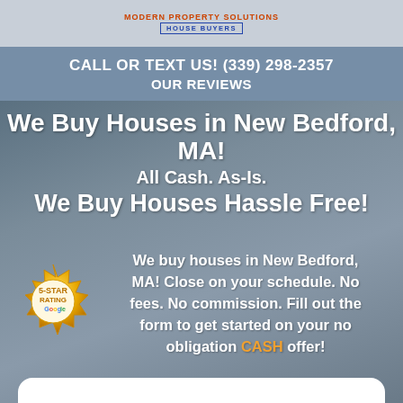MODERN PROPERTY SOLUTIONS HOUSE BUYERS
CALL OR TEXT US! (339) 298-2357
OUR REVIEWS
We Buy Houses in New Bedford, MA! All Cash. As-Is. We Buy Houses Hassle Free!
[Figure (logo): 5-Star Rating Google badge — gold seal with text]
We buy houses in New Bedford, MA! Close on your schedule. No fees. No commission. Fill out the form to get started on your no obligation CASH offer!